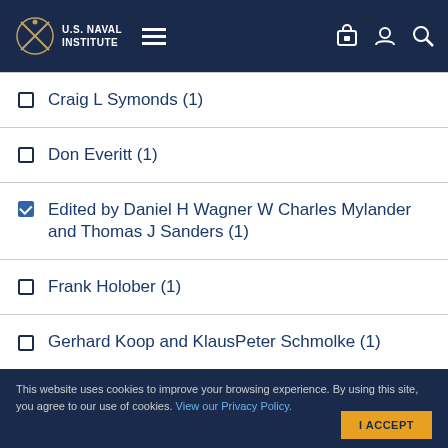U.S. Naval Institute
Craig L Symonds (1)
Don Everitt (1)
Edited by Daniel H Wagner W Charles Mylander and Thomas J Sanders (1)
Frank Holober (1)
Gerhard Koop and KlausPeter Schmolke (1)
Hiroo Onoda Translated by Charles S Terry (1)
This website uses cookies to improve your browsing experience. By using this site, you agree to our use of cookies. View our Privacy Policy.